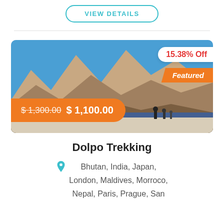VIEW DETAILS
[Figure (photo): Mountain landscape with arid rocky peaks and a blue lake/river, with trekkers walking on a white sandy path. Overlaid with discount badge '15.38% Off', 'Featured' ribbon, and price bar showing '$ 1,300.00  $ 1,100.00']
Dolpo Trekking
Bhutan, India, Japan, London, Maldives, Morroco, Nepal, Paris, Prague, San